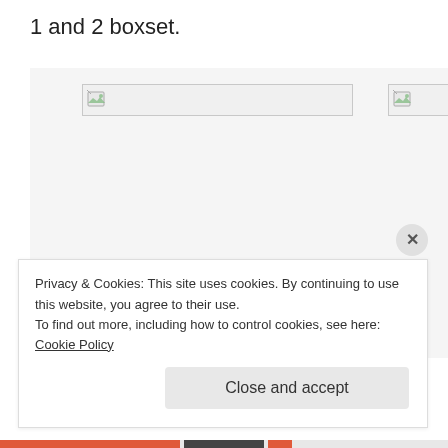1 and 2 boxset.
[Figure (screenshot): Two broken image placeholders in a light gray container area, representing missing product images for a boxset]
Privacy & Cookies: This site uses cookies. By continuing to use this website, you agree to their use.
To find out more, including how to control cookies, see here: Cookie Policy
Close and accept